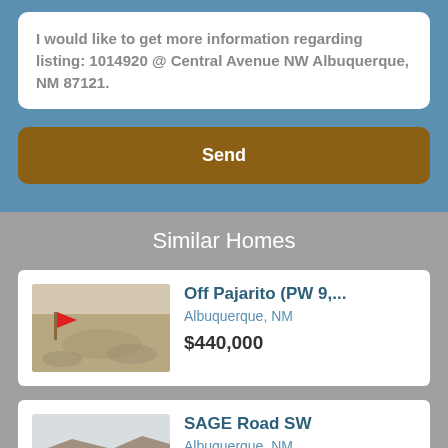I would like to get more information regarding listing: 1014920 @ Central Avenue NW Albuquerque, NM 87121.
Send
Similar Homes
Off Pajarito (PW 9,...
Albuquerque, NM
$440,000
SAGE Road SW
Albuquerque, NM
$490,000